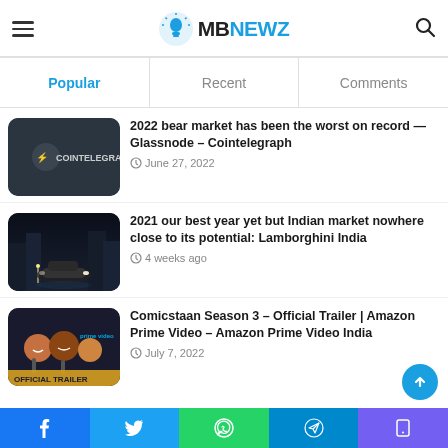MBnewz
Popular | Recent | Comments
[Figure (screenshot): Cointelegraph dark background logo thumbnail]
2022 bear market has been the worst on record — Glassnode – Cointelegraph
June 27, 2022
[Figure (photo): Lamborghini car at night in city]
2021 our best year yet but Indian market nowhere close to its potential: Lamborghini India
4 weeks ago
[Figure (screenshot): Comicstaan Season 3 Official Trailer thumbnail with people smiling]
Comicstaan Season 3 – Official Trailer | Amazon Prime Video – Amazon Prime Video India
July 7, 2022